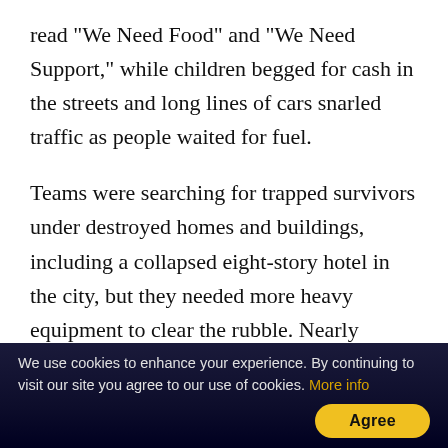read "We Need Food" and "We Need Support," while children begged for cash in the streets and long lines of cars snarled traffic as people waited for fuel.
Teams were searching for trapped survivors under destroyed homes and buildings, including a collapsed eight-story hotel in the city, but they needed more heavy equipment to clear the rubble. Nearly 62,000 people have been displaced from their homes, Nugroho said.
Many people were believed trapped under shattered houses in Balaroa, where the earthquake caused the ground to heave up and down with the...
We use cookies to enhance your experience. By continuing to visit our site you agree to our use of cookies. More info [Agree]